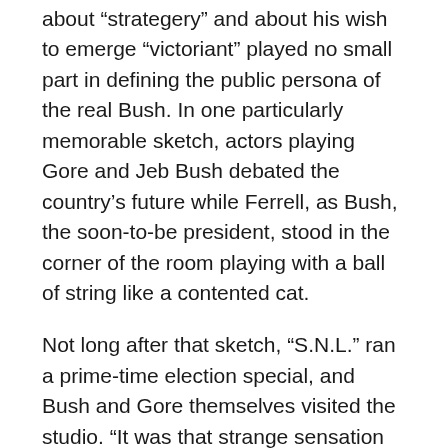about “strategery” and about his wish to emerge “victoriant” played no small part in defining the public persona of the real Bush. In one particularly memorable sketch, actors playing Gore and Jeb Bush debated the country’s future while Ferrell, as Bush, the soon-to-be president, stood in the corner of the room playing with a ball of string like a contented cat.
Not long after that sketch, “S.N.L.” ran a prime-time election special, and Bush and Gore themselves visited the studio. “It was that strange sensation when art and life collide,” Lorne Michaels, the producer of “Saturday Night Live,” told me on the phone from his office at NBC. “There were the two candidates making fun of themselves to the actors who were playing them. Will, especially, captured something essential about Bush, and because Will is so likable, I believe, he tilted the election toward Bush. Often